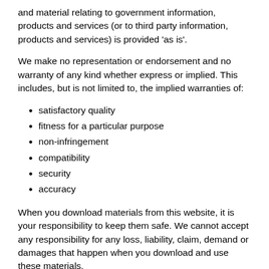and material relating to government information, products and services (or to third party information, products and services) is provided 'as is'.
We make no representation or endorsement and no warranty of any kind whether express or implied. This includes, but is not limited to, the implied warranties of:
satisfactory quality
fitness for a particular purpose
non-infringement
compatibility
security
accuracy
When you download materials from this website, it is your responsibility to keep them safe. We cannot accept any responsibility for any loss, liability, claim, demand or damages that happen when you download and use these materials.
We make no warranty that:
the functions contained in the material on this website